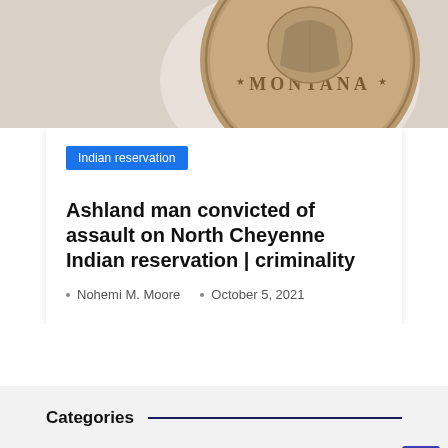[Figure (photo): Close-up of a Montana state coin/seal, showing the word MONTANA and decorative elements, on a light background.]
Indian reservation
Ashland man convicted of assault on North Cheyenne Indian reservation | criminality
Nohemi M. Moore   October 5, 2021
Categories
Indian reservation